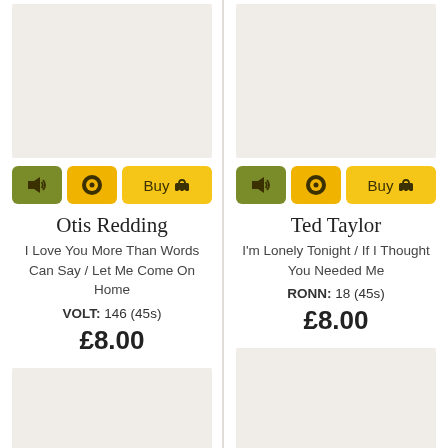[Figure (photo): Album cover image placeholder for Otis Redding record, light beige background]
[Figure (photo): Album cover image placeholder for Ted Taylor record, light beige background]
Otis Redding
I Love You More Than Words Can Say / Let Me Come On Home
VOLT: 146 (45s)
£8.00
Ted Taylor
I'm Lonely Tonight / If I Thought You Needed Me
RONN: 18 (45s)
£8.00
[Figure (photo): Album cover image placeholder bottom left, light beige background]
[Figure (photo): Album cover image placeholder bottom right, light beige background]